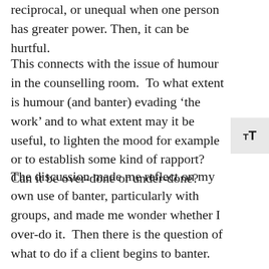reciprocal, or unequal when one person has greater power. Then, it can be hurtful.
This connects with the issue of humour in the counselling room.  To what extent is humour (and banter) evading ‘the work’ and to what extent may it be useful, to lighten the mood for example or to establish some kind of rapport?  Can it be over-done or under-done?
The discussion made me reflect on my own use of banter, particularly with groups, and made me wonder whether I over-do it.  Then there is the question of what to do if a client begins to banter.